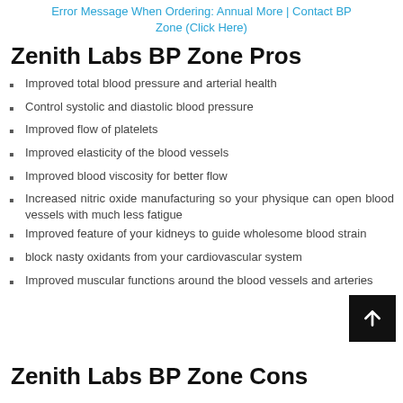Error Message When Ordering: Annual More | Contact BP Zone (Click Here)
Zenith Labs BP Zone Pros
Improved total blood pressure and arterial health
Control systolic and diastolic blood pressure
Improved flow of platelets
Improved elasticity of the blood vessels
Improved blood viscosity for better flow
Increased nitric oxide manufacturing so your physique can open blood vessels with much less fatigue
Improved feature of your kidneys to guide wholesome blood strain
block nasty oxidants from your cardiovascular system
Improved muscular functions around the blood vessels and arteries
Zenith Labs BP Zone Cons